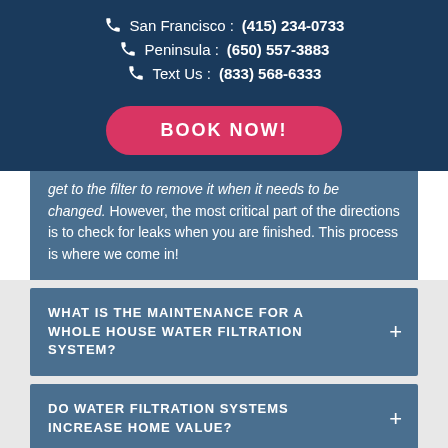San Francisco : (415) 234-0733
Peninsula : (650) 557-3883
Text Us : (833) 568-6333
BOOK NOW!
get to the filter to remove it when it needs to be changed. However, the most critical part of the directions is to check for leaks when you are finished. This process is where we come in!
WHAT IS THE MAINTENANCE FOR A WHOLE HOUSE WATER FILTRATION SYSTEM?
DO WATER FILTRATION SYSTEMS INCREASE HOME VALUE?